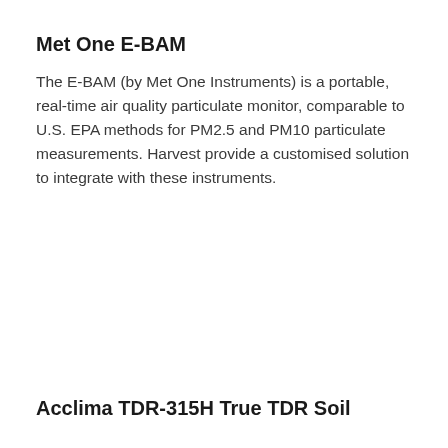Met One E-BAM
The E-BAM (by Met One Instruments) is a portable, real-time air quality particulate monitor, comparable to U.S. EPA methods for PM2.5 and PM10 particulate measurements. Harvest provide a customised solution to integrate with these instruments.
Acclima TDR-315H True TDR Soil